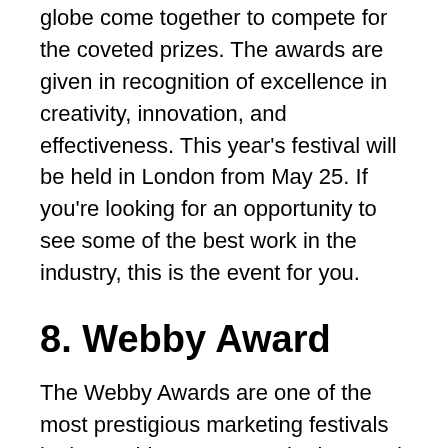Every year, top agencies from around the globe come together to compete for the coveted prizes. The awards are given in recognition of excellence in creativity, innovation, and effectiveness. This year's festival will be held in London from May 25. If you're looking for an opportunity to see some of the best work in the industry, this is the event for you.
8. Webby Award
The Webby Awards are one of the most prestigious marketing festivals in the world. Every year, the best and brightest in the industry come together to celebrate the latest and greatest in web design, development, and marketing. From iconic